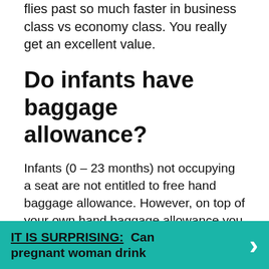flies past so much faster in business class vs economy class. You really get an excellent value.
Do infants have baggage allowance?
Infants (0 – 23 months) not occupying a seat are not entitled to free hand baggage allowance. However, on top of your own hand baggage allowance you may bring your infant's food for consumption on board. Children (2 – 11 years) have the same free hand baggage allowance as adults, depending on the travel class.
IT IS SURPRISING: Can pregnant woman drink